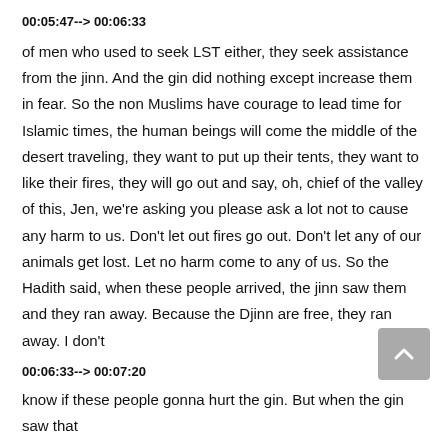00:05:47--> 00:06:33
of men who used to seek LST either, they seek assistance from the jinn. And the gin did nothing except increase them in fear. So the non Muslims have courage to lead time for Islamic times, the human beings will come the middle of the desert traveling, they want to put up their tents, they want to like their fires, they will go out and say, oh, chief of the valley of this, Jen, we're asking you please ask a lot not to cause any harm to us. Don't let out fires go out. Don't let any of our animals get lost. Let no harm come to any of us. So the Hadith said, when these people arrived, the jinn saw them and they ran away. Because the Djinn are free, they ran away. I don't
00:06:33--> 00:07:20
know if these people gonna hurt the gin. But when the gin saw that